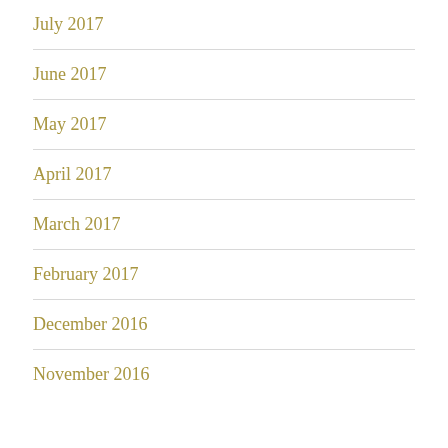July 2017
June 2017
May 2017
April 2017
March 2017
February 2017
December 2016
November 2016